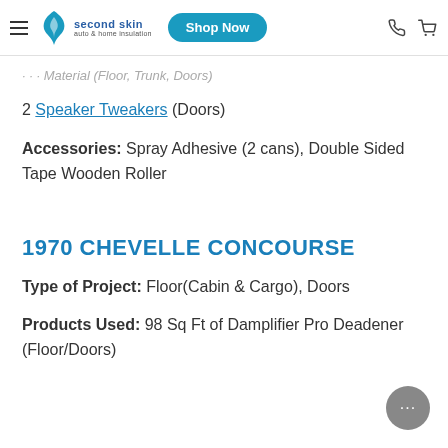Second Skin auto & home insulation | Shop Now
Material (Floor, Trunk, Doors)
2 Speaker Tweakers (Doors)
Accessories: Spray Adhesive (2 cans), Double Sided Tape Wooden Roller
1970 CHEVELLE CONCOURSE
Type of Project: Floor(Cabin & Cargo), Doors
Products Used: 98 Sq Ft of Damplifier Pro Deadener (Floor/Doors)